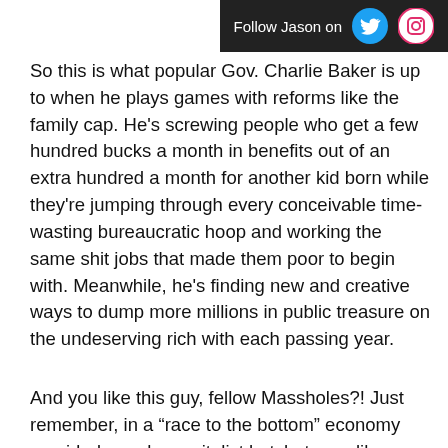Follow Jason on
So this is what popular Gov. Charlie Baker is up to when he plays games with reforms like the family cap. He’s screwing people who get a few hundred bucks a month in benefits out of an extra hundred a month for another kid born while they’re jumping through every conceivable time-wasting bureaucratic hoop and working the same shit jobs that made them poor to begin with. Meanwhile, he’s finding new and creative ways to dump more millions in public treasure on the undeserving rich with each passing year.
And you like this guy, fellow Massholes?! Just remember, in a “race to the bottom” economy presided over by capitalist hatchet men like Baker, once the